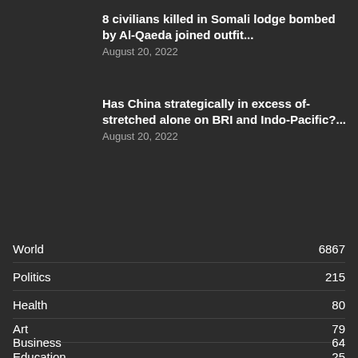8 civilians killed in Somali lodge bombed by Al-Qaeda joined outfit...
August 20, 2022
Has China strategically in excess of-stretched alone on BRI and Indo-Pacific?...
August 20, 2022
POPULAR CATEGORY
World  6867
Politics  215
Health  80
Art  79
Business  64
Education  25